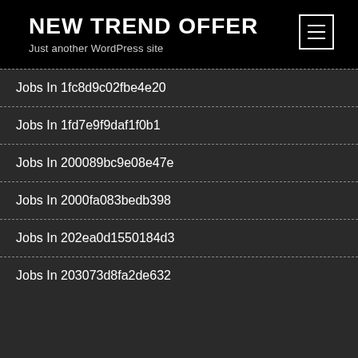NEW TREND OFFER
Just another WordPress site
Jobs In 1fc8d9c02fbe4e20
Jobs In 1fd7e9f9daf1f0b1
Jobs In 200089bc9e08e47e
Jobs In 2000fa083bedb398
Jobs In 202ea0d1550184d3
Jobs In 203073d8fa2de632